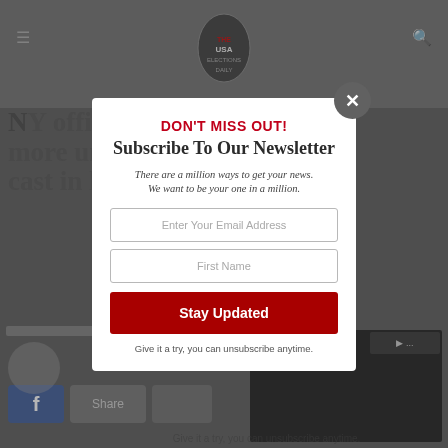[Figure (screenshot): Background website page of USA Elections Daily showing a headline about NY officials and uncounted ballots, with navigation header, logo, and social share buttons]
[Figure (screenshot): Newsletter subscription modal popup with close button (X), red DON'T MISS OUT! heading, Subscribe To Our Newsletter heading, italic subtitle text, email and first name input fields, red Stay Updated button, and unsubscribe disclaimer]
DON'T MISS OUT!
Subscribe To Our Newsletter
There are a million ways to get your news. We want to be your one in a million.
Enter Your Email Address
First Name
Stay Updated
Give it a try, you can unsubscribe anytime.